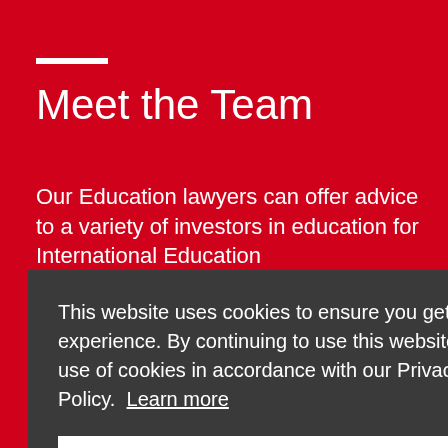Meet the Team
Our Education lawyers can offer advice to a variety of investors in education for International Education
This website uses cookies to ensure you get the best user experience. By continuing to use this website, you agree to our use of cookies in accordance with our Privacy & Cookies Policy. Learn more
Got it!